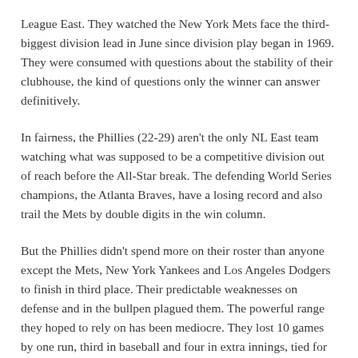League East. They watched the New York Mets face the third-biggest division lead in June since division play began in 1969. They were consumed with questions about the stability of their clubhouse, the kind of questions only the winner can answer definitively.
In fairness, the Phillies (22-29) aren't the only NL East team watching what was supposed to be a competitive division out of reach before the All-Star break. The defending World Series champions, the Atlanta Braves, have a losing record and also trail the Mets by double digits in the win column.
But the Phillies didn't spend more on their roster than anyone except the Mets, New York Yankees and Los Angeles Dodgers to finish in third place. Their predictable weaknesses on defense and in the bullpen plagued them. The powerful range they hoped to rely on has been mediocre. They lost 10 games by one run, third in baseball and four in extra innings, tied for second. Three of those extra-innings losses came this week in a particularly